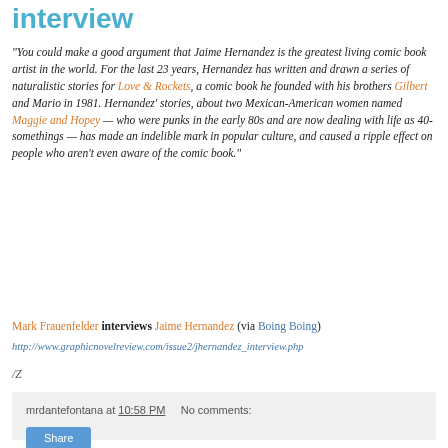interview
"You could make a good argument that Jaime Hernandez is the greatest living comic book artist in the world. For the last 23 years, Hernandez has written and drawn a series of naturalistic stories for Love & Rockets, a comic book he founded with his brothers Gilbert and Mario in 1981. Hernandez' stories, about two Mexican-American women named Maggie and Hopey — who were punks in the early 80s and are now dealing with life as 40-somethings — has made an indelible mark in popular culture, and caused a ripple effect on people who aren't even aware of the comic book."
Mark Frauenfelder interviews Jaime Hernandez (via Boing Boing)
http://www.graphicnovelreview.com/issue2/jhernandez_interview.php
/Z
mrdantefontana at 10:58 PM   No comments: